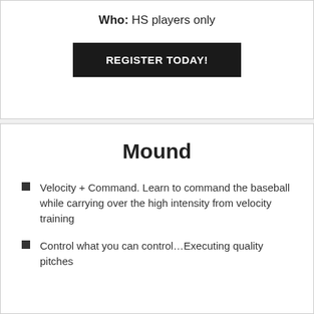Who: HS players only
REGISTER TODAY!
Mound
Velocity + Command. Learn to command the baseball while carrying over the high intensity from velocity training
Control what you can control…Executing quality pitches